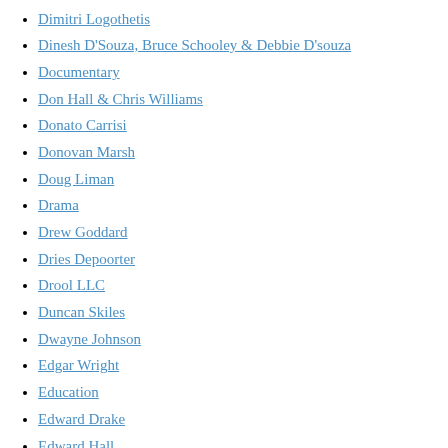Dimitri Logothetis
Dinesh D'Souza, Bruce Schooley & Debbie D'souza
Documentary
Don Hall & Chris Williams
Donato Carrisi
Donovan Marsh
Doug Liman
Drama
Drew Goddard
Dries Depoorter
Drool LLC
Duncan Skiles
Dwayne Johnson
Edgar Wright
Education
Edward Drake
Edward Hall
Edward James Olmos